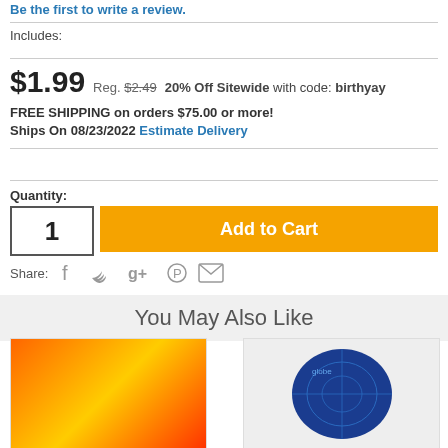Be the first to write a review.
Includes:
$1.99  Reg. $2.49  20% Off Sitewide with code: birthyay
FREE SHIPPING on orders $75.00 or more!
Ships On 08/23/2022  Estimate Delivery
Quantity:
1
Add to Cart
Share:
You May Also Like